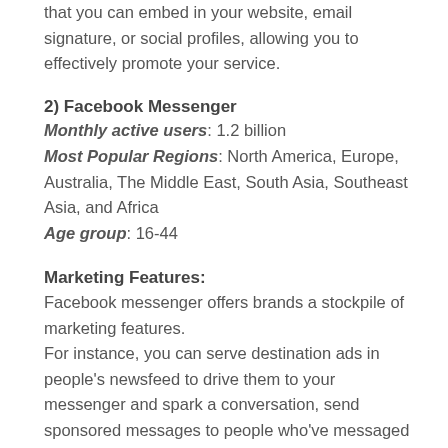that you can embed in your website, email signature, or social profiles, allowing you to effectively promote your service.
2) Facebook Messenger
Monthly active users: 1.2 billion
Most Popular Regions: North America, Europe, Australia, The Middle East, South Asia, Southeast Asia, and Africa
Age group: 16-44
Marketing Features:
Facebook messenger offers brands a stockpile of marketing features. For instance, you can serve destination ads in people's newsfeed to drive them to your messenger and spark a conversation, send sponsored messages to people who've messaged